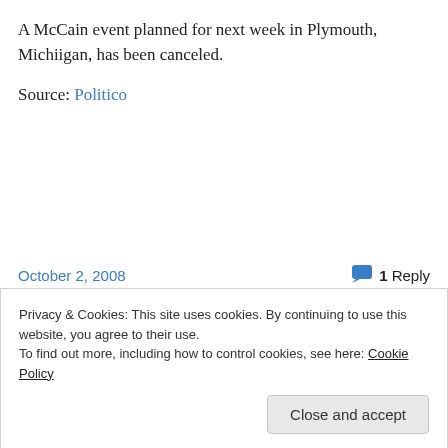A McCain event planned for next week in Plymouth, Michiigan, has been canceled.
Source: Politico
October 2, 2008
1 Reply
Privacy & Cookies: This site uses cookies. By continuing to use this website, you agree to their use.
To find out more, including how to control cookies, see here: Cookie Policy
Close and accept